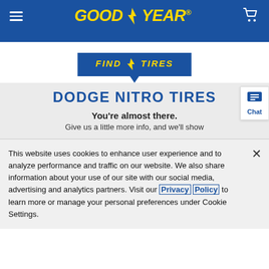[Figure (logo): Goodyear logo with hamburger menu and shopping cart icon on blue navigation bar]
[Figure (logo): Find Tires badge in blue with yellow italic text and downward pointing chevron]
DODGE NITRO TIRES
You're almost there.
Give us a little more info, and we'll show
This website uses cookies to enhance user experience and to analyze performance and traffic on our website. We also share information about your use of our site with our social media, advertising and analytics partners. Visit our Privacy Policy to learn more or manage your personal preferences under Cookie Settings.